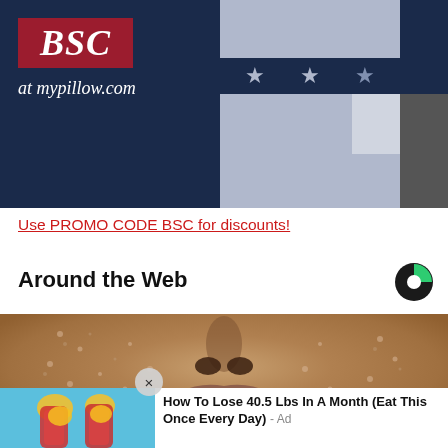[Figure (photo): BSC promo banner for mypillow.com with dark navy background, red box with BSC text in italic, 'at mypillow.com' text, and patriotic stars design on the right]
Use PROMO CODE BSC for discounts!
Around the Web
[Figure (logo): Outbrain logo - circular logo with green and dark segments]
[Figure (photo): Close-up photo of a face with textured/dry skin condition around the nose and mouth area]
[Figure (photo): Ad image showing anatomical illustration of legs/body with yellow and red elements on blue background]
How To Lose 40.5 Lbs In A Month (Eat This Once Every Day) - Ad